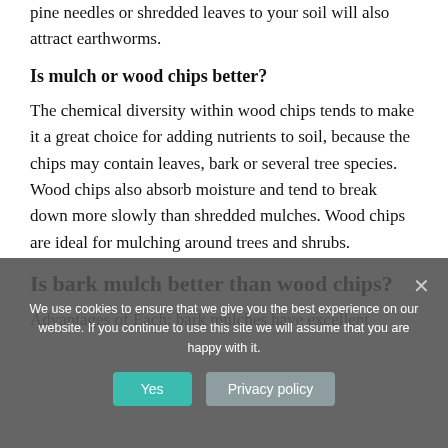pine needles or shredded leaves to your soil will also attract earthworms.
Is mulch or wood chips better?
The chemical diversity within wood chips tends to make it a great choice for adding nutrients to soil, because the chips may contain leaves, bark or several tree species. Wood chips also absorb moisture and tend to break down more slowly than shredded mulches. Wood chips are ideal for mulching around trees and shrubs.
Is bark mulch better than wood chips?
Advantages of Each: bark mulches have excellent
We use cookies to ensure that we give you the best experience on our website. If you continue to use this site we will assume that you are happy with it.